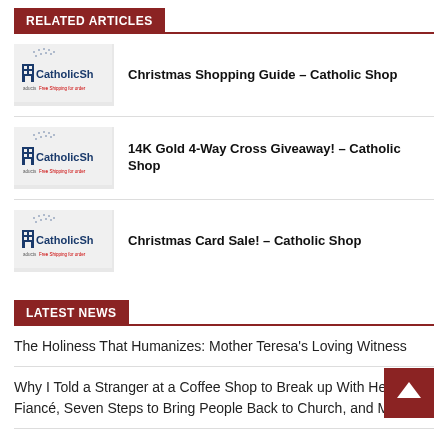RELATED ARTICLES
Christmas Shopping Guide – Catholic Shop
14K Gold 4-Way Cross Giveaway! – Catholic Shop
Christmas Card Sale! – Catholic Shop
LATEST NEWS
The Holiness That Humanizes: Mother Teresa's Loving Witness
Why I Told a Stranger at a Coffee Shop to Break up With Her Fiancé, Seven Steps to Bring People Back to Church, and More